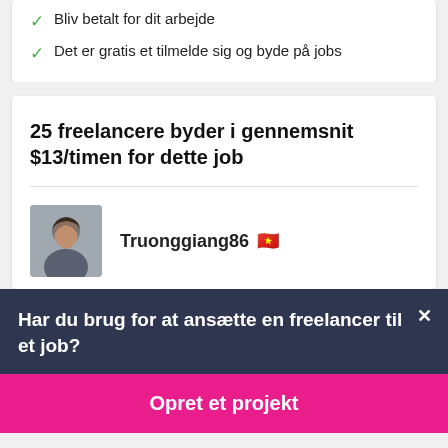Bliv betalt for dit arbejde
Det er gratis et tilmelde sig og byde på jobs
25 freelancere byder i gennemsnit $13/timen for dette job
Truonggiang86 🇻🇳
Har du brug for at ansætte en freelancer til et job?
Opret et projekt